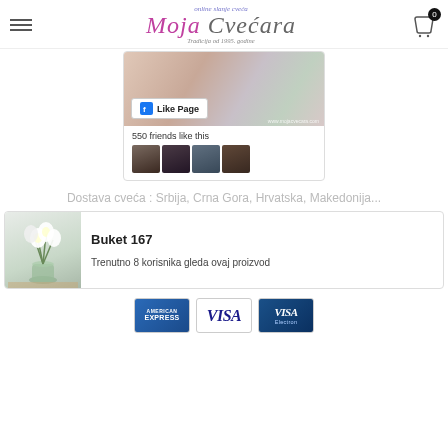Moja Cvećara - online slanje cveća - Tradicija od 1995. godine
[Figure (screenshot): Facebook Like Page widget showing a flower shop banner with a woman and flowers, 550 friends like this, and 4 profile photo thumbnails]
Dostava cveća : Srbija, Crna Gora, Hrvatska, Makedonija...
[Figure (photo): White lily bouquet in a green glass vase on a wooden table]
Buket 167
Trenutno 8 korisnika gleda ovaj proizvod
[Figure (logo): Payment method logos: American Express, VISA, VISA Electron]